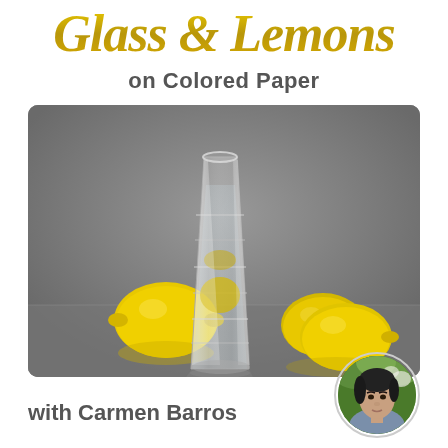Glass & Lemons on Colored Paper
[Figure (illustration): Artwork showing a tall clear glass of water surrounded by three yellow lemons on a gray background, realistic colored pencil style painting]
with Carmen Barros
[Figure (photo): Circular portrait photo of Carmen Barros, a woman with dark hair, outdoors with green foliage background]